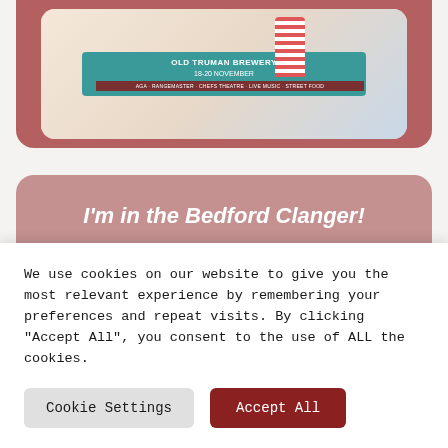[Figure (photo): Top card with reddish-brown background showing an event promotional image for Old Truman Brewery 18-20 November, with a striped canister decoration and event banner]
I'm in the Bedford Clanger!
[Figure (photo): Bottom portion of a pink-red card showing a green garden/outdoor scene]
We use cookies on our website to give you the most relevant experience by remembering your preferences and repeat visits. By clicking "Accept All", you consent to the use of ALL the cookies.